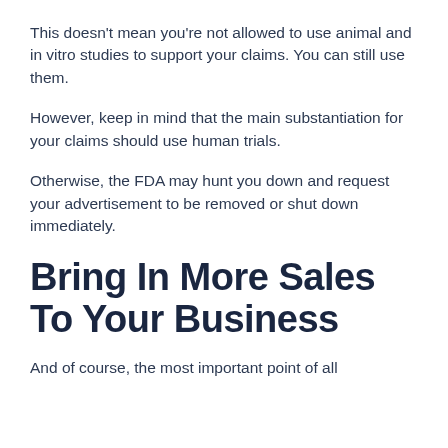This doesn't mean you're not allowed to use animal and in vitro studies to support your claims. You can still use them.
However, keep in mind that the main substantiation for your claims should use human trials.
Otherwise, the FDA may hunt you down and request your advertisement to be removed or shut down immediately.
Bring In More Sales To Your Business
And of course, the most important point of all